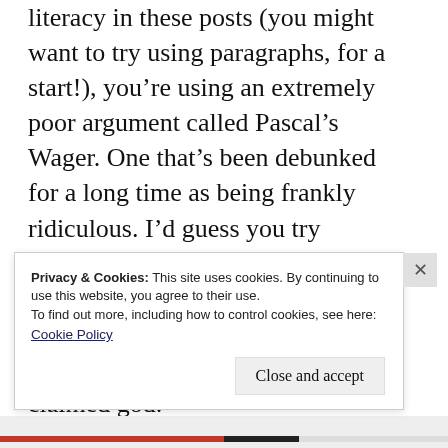literacy in these posts (you might want to try using paragraphs, for a start!), you're using an extremely poor argument called Pascal's Wager. One that's been debunked for a long time as being frankly ridiculous. I'd guess you try Googling it for more thoroughness, but basically, you're staking essentially the same bet putting in all our chips on one claimed god.
You need to understand that atheists don't
Privacy & Cookies: This site uses cookies. By continuing to use this website, you agree to their use.
To find out more, including how to control cookies, see here: Cookie Policy